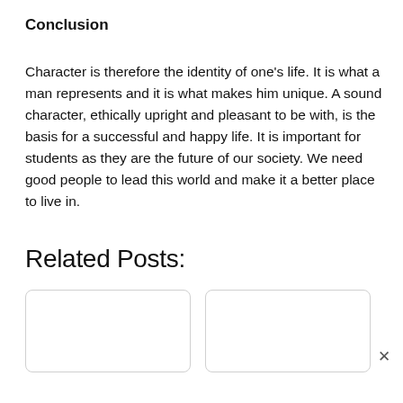Conclusion
Character is therefore the identity of one's life. It is what a man represents and it is what makes him unique. A sound character, ethically upright and pleasant to be with, is the basis for a successful and happy life. It is important for students as they are the future of our society. We need good people to lead this world and make it a better place to live in.
Related Posts:
[Figure (other): Two blank related post card placeholders side by side]